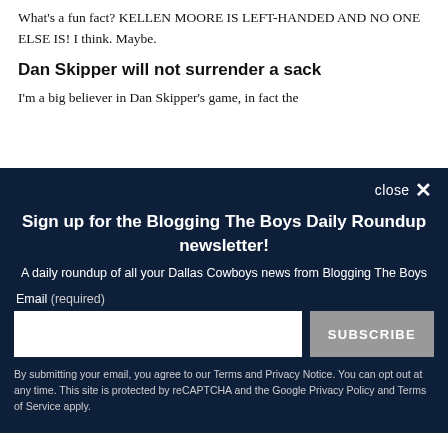What's a fun fact? KELLEN MOORE IS LEFT-HANDED AND NO ONE ELSE IS! I think. Maybe.
Dan Skipper will not surrender a sack
I'm a big believer in Dan Skipper's game, in fact the
close ✕
Sign up for the Blogging The Boys Daily Roundup newsletter!
A daily roundup of all your Dallas Cowboys news from Blogging The Boys
Email (required)
SUBSCRIBE
By submitting your email, you agree to our Terms and Privacy Notice. You can opt out at any time. This site is protected by reCAPTCHA and the Google Privacy Policy and Terms of Service apply.